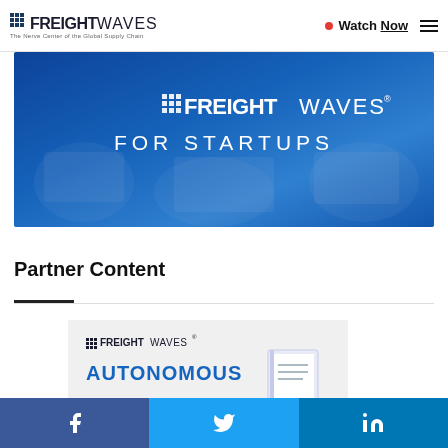FREIGHTWAVES — The Nerve Center of the Global Supply Chain | Watch Now | Menu
[Figure (illustration): FreightWaves For Startups banner — blue gradient background with people working on laptops, FreightWaves logo and 'FOR STARTUPS' text in white]
Partner Content
[Figure (illustration): FreightWaves Autonomous report thumbnail card on light grey background with book illustration on right side]